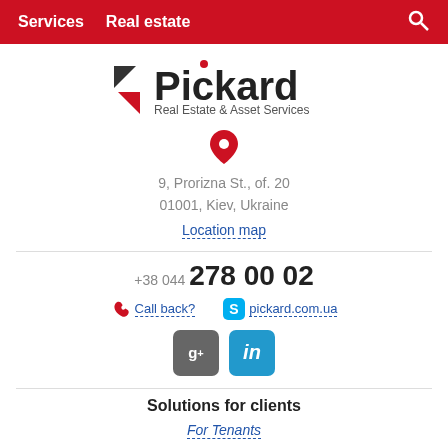Services   Real estate
[Figure (logo): Pickard Real Estate & Asset Services logo with black and red arrow icons]
[Figure (illustration): Red map pin / location marker icon]
9, Prorizna St., of. 20
01001, Kiev, Ukraine
Location map
+38 044 278 00 02
Call back?
pickard.com.ua
[Figure (logo): Google Plus and LinkedIn social media icons]
Solutions for clients
For Tenants